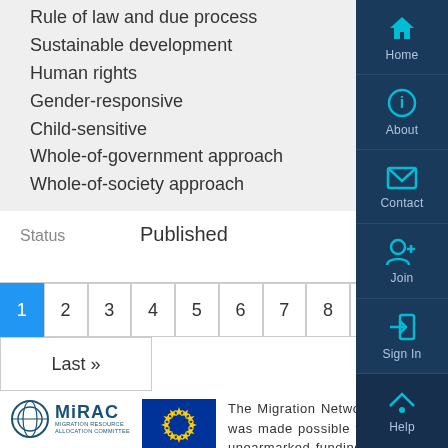Rule of law and due process
Sustainable development
Human rights
Gender-responsive
Child-sensitive
Whole-of-government approach
Whole-of-society approach
Status   Published
1 2 3 4 5 6 7 8 9 Next»  Last»
The Migration Network was made possible thro unearmarked funding g to the International